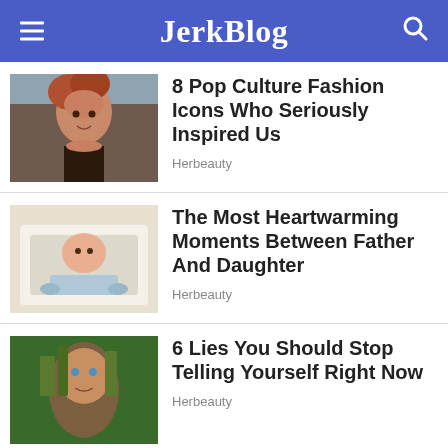JerkBlog
[Figure (photo): Woman with red hair smiling, wearing dark dress and necklace]
8 Pop Culture Fashion Icons Who Seriously Inspired Us
Herbeauty
[Figure (photo): Newborn baby being held by an adult]
The Most Heartwarming Moments Between Father And Daughter
Herbeauty
[Figure (photo): Man's face half covered by tree bark and nature imagery]
6 Lies You Should Stop Telling Yourself Right Now
Herbeauty
I                     ll      t